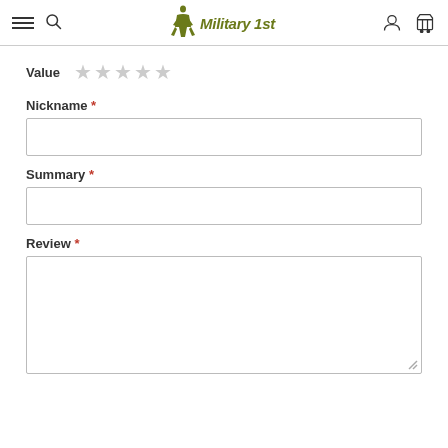Military 1st
Value ★★★★★
Nickname *
Summary *
Review *